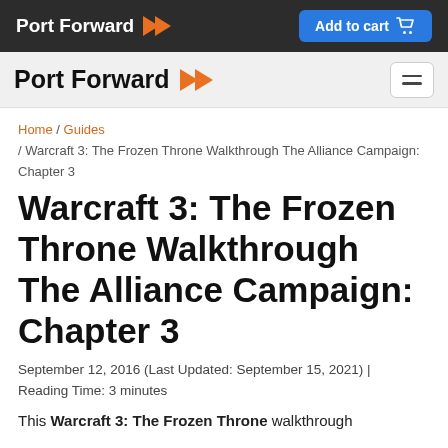Port Forward | Add to cart
Port Forward (secondary nav)
Home / Guides / Warcraft 3: The Frozen Throne Walkthrough The Alliance Campaign: Chapter 3
Warcraft 3: The Frozen Throne Walkthrough The Alliance Campaign: Chapter 3
September 12, 2016 (Last Updated: September 15, 2021) | Reading Time: 3 minutes
This Warcraft 3: The Frozen Throne walkthrough